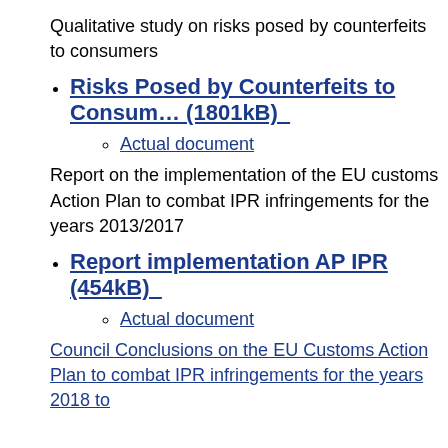Qualitative study on risks posed by counterfeits to consumers
Risks Posed by Counterfeits to Consumers (1801kB)
Actual document
Report on the implementation of the EU customs Action Plan to combat IPR infringements for the years 2013/2017
Report implementation AP IPR (454kB)
Actual document
Council Conclusions on the EU Customs Action Plan to combat IPR infringements for the years 2018 to